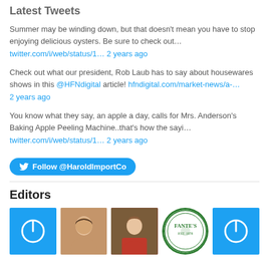Latest Tweets
Summer may be winding down, but that doesn't mean you have to stop enjoying delicious oysters. Be sure to check out…
twitter.com/i/web/status/1… 2 years ago
Check out what our president, Rob Laub has to say about housewares shows in this @HFNdigital article! hfndigital.com/market-news/a-…
2 years ago
You know what they say, an apple a day, calls for Mrs. Anderson's Baking Apple Peeling Machine..that's how the sayi…
twitter.com/i/web/status/1… 2 years ago
Follow @HaroldImportCo
Editors
[Figure (photo): Row of five editor avatar icons/photos: two blue square icons with power symbol, one photo of a woman, one photo of a woman in red, one circular Fante's logo, one blue square icon with power symbol]